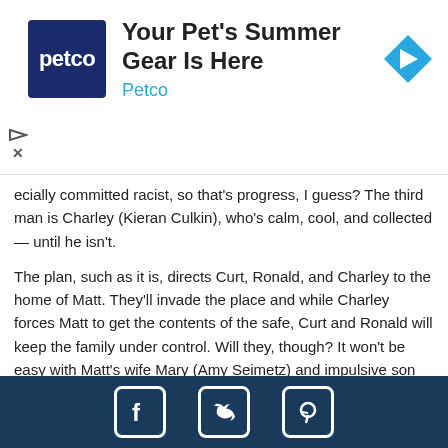[Figure (other): Petco advertisement banner with logo, text 'Your Pet's Summer Gear Is Here', 'Petco' subtitle, and a blue navigation arrow icon]
ecially committed racist, so that's progress, I guess? The third man is Charley (Kieran Culkin), who's calm, cool, and collected — until he isn't.
The plan, such as it is, directs Curt, Ronald, and Charley to the home of Matt. They'll invade the place and while Charley forces Matt to get the contents of the safe, Curt and Ronald will keep the family under control. Will they, though? It won't be easy with Matt's wife Mary (Amy Seimetz) and impulsive son Matthew (Noah Jupe) thrown into the mix. Things get even more complicated when one of the team ends up deceased, a quietly persistent cop (Jon Hamm) gets on their trail, and yet another crime boss (The mighty Bill Duke) decides to put his finger on the scales.
Social media icons: Facebook, Twitter, Pinterest